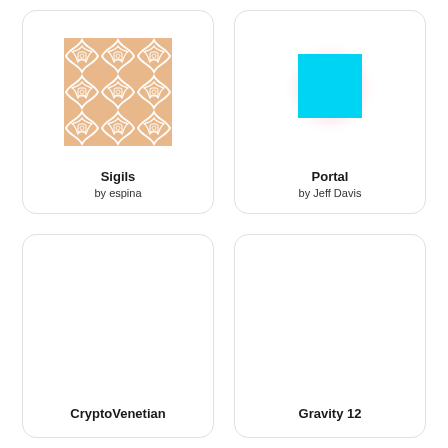[Figure (illustration): Sigils artwork: a repeating geometric tile pattern in sandy/peach color with white curvilinear ornamental shapes arranged in a symmetrical 3x3 grid]
Sigils
by espina
[Figure (illustration): Portal artwork: a cyan/turquoise square centered on a white background with a soft pink radial glow around it]
Portal
by Jeff Davis
[Figure (illustration): CryptoVenetian artwork: blank white card with no visible image in lower left]
CryptoVenetian
[Figure (illustration): Gravity 12 artwork: blank white card with no visible image in lower right]
Gravity 12